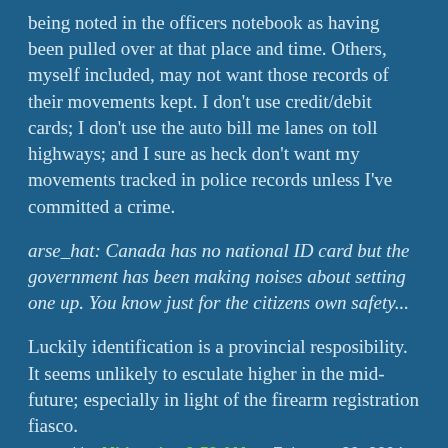being noted in the officers notebook as having been pulled over at that place and time. Others, myself included, may not want those records of their movements kept. I don't use credit/debit cards; I don't use the auto bill me lanes on toll highways; and I sure as heck don't want my movements tracked in police records unless I've committed a crime.
arse_hat: Canada has no national ID card but the government has been making noises about setting one up. You know just for the citizens own safety...
Luckily identification is a provincial resposibility. It seems unlikely to esculate higher in the mid-future; especially in light of the firearm registration fiasco.
posted by Mitheral at 9:52 AM on February 20, 2004
Cops do abuse id, even if they don't have to ask you for it. In the 80s I used to regularly bike to Eastmont high (more a...